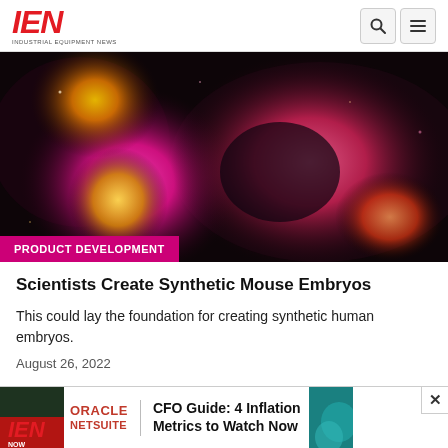IEN INDUSTRIAL EQUIPMENT NEWS
[Figure (photo): Fluorescence microscopy image of synthetic mouse embryos glowing in magenta, pink, yellow, and orange colors against a dark black background.]
PRODUCT DEVELOPMENT
Scientists Create Synthetic Mouse Embryos
This could lay the foundation for creating synthetic human embryos.
August 26, 2022
[Figure (screenshot): Advertisement banner: Oracle NetSuite | CFO Guide: 4 Inflation Metrics to Watch Now]